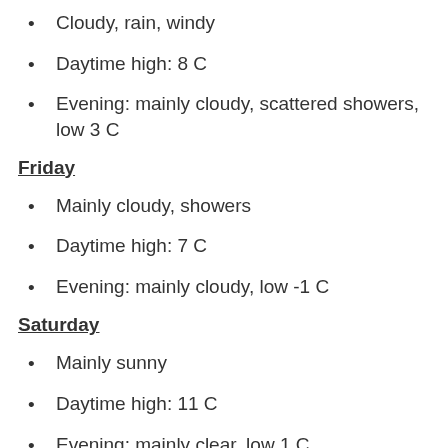Cloudy, rain, windy
Daytime high: 8 C
Evening: mainly cloudy, scattered showers, low 3 C
Friday
Mainly cloudy, showers
Daytime high: 7 C
Evening: mainly cloudy, low -1 C
Saturday
Mainly sunny
Daytime high: 11 C
Evening: mainly clear, low 1 C